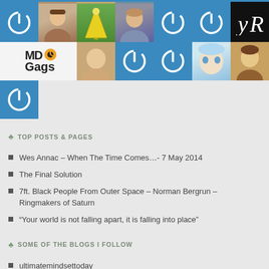[Figure (photo): Grid of avatar profile pictures and blue power-button icons arranged in rows]
TOP POSTS & PAGES
Wes Annac – When The Time Comes…- 7 May 2014
The Final Solution
7ft. Black People From Outer Space – Norman Bergrun – Ringmakers of Saturn
“Your world is not falling apart, it is falling into place”
SOME OF THE BLOGS I FOLLOW
ultimatemindsettoday
Attila Ovari